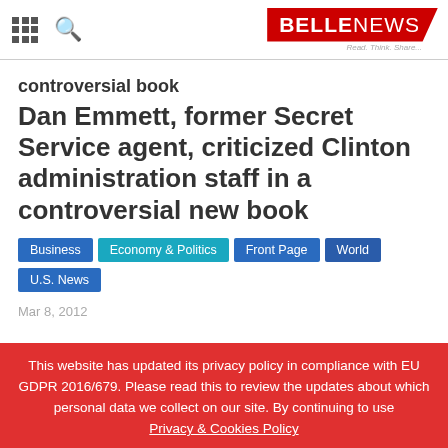BELLENEWS — Read. Think. Share.
controversial book
Dan Emmett, former Secret Service agent, criticized Clinton administration staff in a controversial new book
Business
Economy & Politics
Front Page
World
U.S. News
Mar 8, 2012
This website has updated its privacy policy in compliance with EU GDPR 2016/679. Please read this to review the updates about which personal data we collect on our site. By continuing to use Privacy & Cookies Policy